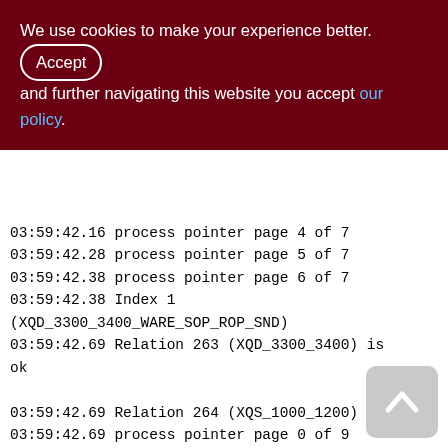We use cookies to make your experience better. By accepting and further navigating this website you accept our policy.
03:59:42.16 process pointer page 4 of 7
03:59:42.28 process pointer page 5 of 7
03:59:42.38 process pointer page 6 of 7
03:59:42.38 Index 1 (XQD_3300_3400_WARE_SOP_ROP_SND)
03:59:42.69 Relation 263 (XQD_3300_3400) is ok

03:59:42.69 Relation 264 (XQS_1000_1200)
03:59:42.69 process pointer page 0 of 9
03:59:42.77 process pointer page 1 of 9
03:59:42.86 process pointer page 2 of 9
03:59:42.96 process pointer page 3 of 9